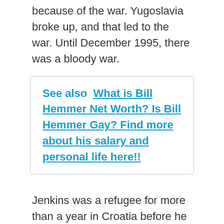because of the war. Yugoslavia broke up, and that led to the war. Until December 1995, there was a bloody war.
See also  What is Bill Hemmer Net Worth? Is Bill Hemmer Gay? Find more about his salary and personal life here!!
Jenkins was a refugee for more than a year in Croatia before he moved to London. She was able to go back to school at City University, London, after two years. Diana was smart to study math instead of English because you don't need to know English to understand numbers. She got a BSc (with honors) in Computer Science and Economics in the end.
Around this time, many of Diana's fellow